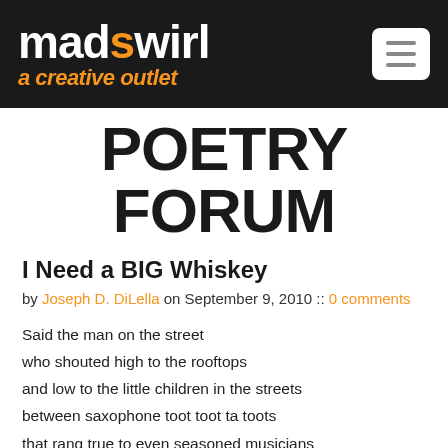mad swirl a creative outlet
POETRY FORUM
I Need a BIG Whiskey
by Joseph D. DiLella on September 9, 2010 :: 0 comments
Said the man on the street
who shouted high to the rooftops
and low to the little children in the streets
between saxophone toot toot ta toots
that rang true to even seasoned musicians
on the Brooklyn streets.